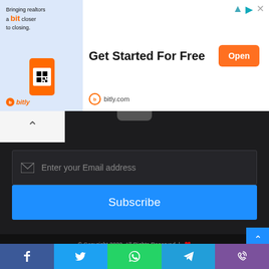[Figure (screenshot): Advertisement banner for bitly.com: 'Bringing realtors a bit closer to closing. Get Started For Free' with Open button, bitly logo and URL. Ad icons top right.]
[Figure (screenshot): Dark UI section with white tab containing chevron-up arrow and scroll handle bar at top]
Enter your Email address
Subscribe
© Copyright 2022, All Rights Reserved | ❤ Home  How to  Tech  Gaming  Phones  Android App store (social icons: facebook, twitter, youtube, instagram)
[Figure (screenshot): Bottom share bar with Facebook, Twitter, WhatsApp, Telegram, and Viber share buttons]